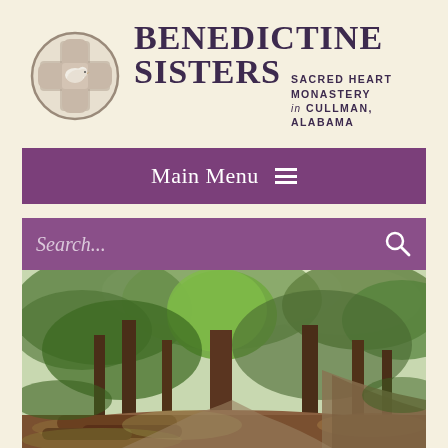[Figure (logo): Circular logo with cross/dove emblem for Benedictine Sisters Sacred Heart Monastery]
BENEDICTINE SISTERS SACRED HEART MONASTERY in CULLMAN, ALABAMA
Main Menu ☰
Search...
[Figure (photo): Forest path with tall trees, green foliage, and logs on the ground at Sacred Heart Monastery grounds in Cullman, Alabama]